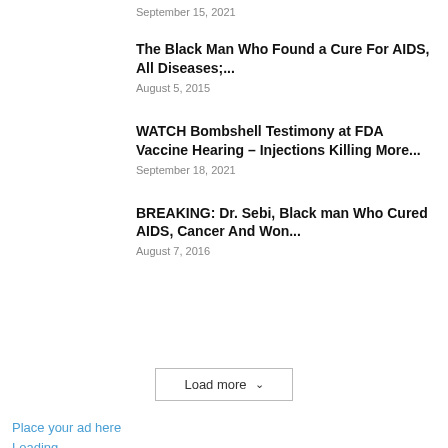September 15, 2021
The Black Man Who Found a Cure For AIDS, All Diseases;...
August 5, 2015
WATCH Bombshell Testimony at FDA Vaccine Hearing – Injections Killing More...
September 18, 2021
BREAKING: Dr. Sebi, Black man Who Cured AIDS, Cancer And Won...
August 7, 2016
Load more ∨
Place your ad here
Loading...